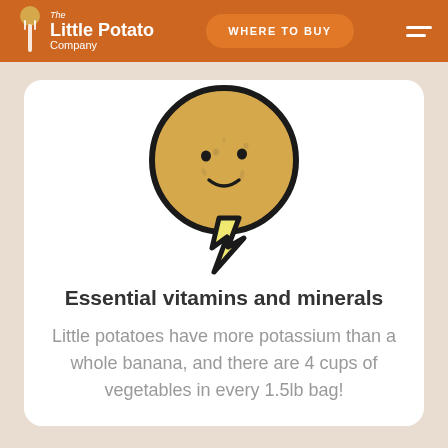The Little Potato Company | WHERE TO BUY
[Figure (illustration): Cartoon potato face with a yellow lightning bolt below it on a white card background]
Essential vitamins and minerals
Little potatoes have more potassium than a whole banana, and there are 4 cups of vegetables in every 1.5lb bag!